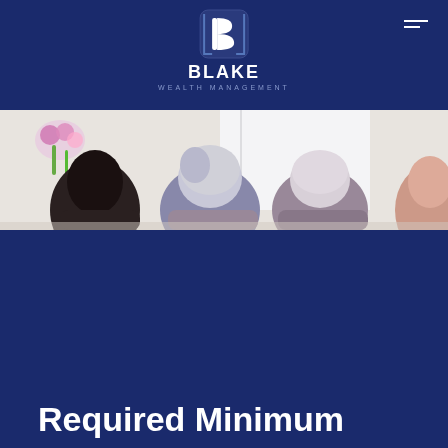[Figure (logo): Blake Wealth Management logo: stylized 'B' icon in white on dark navy background, with company name BLAKE in bold white and WEALTH MANAGEMENT in smaller spaced letters below]
[Figure (photo): Cropped photo of people from behind at a meeting or consultation — dark-haired person on left, two elderly individuals with grey/white hair in center and right, flower arrangement visible on left side, bright window in background]
Required Minimum